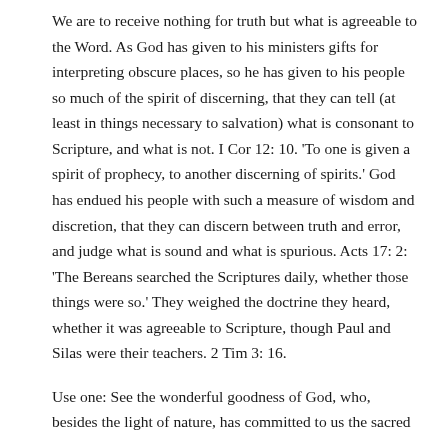We are to receive nothing for truth but what is agreeable to the Word. As God has given to his ministers gifts for interpreting obscure places, so he has given to his people so much of the spirit of discerning, that they can tell (at least in things necessary to salvation) what is consonant to Scripture, and what is not. I Cor 12: 10. 'To one is given a spirit of prophecy, to another discerning of spirits.' God has endued his people with such a measure of wisdom and discretion, that they can discern between truth and error, and judge what is sound and what is spurious. Acts 17: 2: 'The Bereans searched the Scriptures daily, whether those things were so.' They weighed the doctrine they heard, whether it was agreeable to Scripture, though Paul and Silas were their teachers. 2 Tim 3: 16.
Use one: See the wonderful goodness of God, who, besides the light of nature, has committed to us the sacred